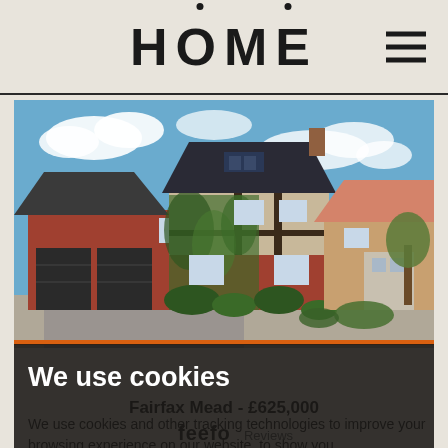HOME
[Figure (photo): Photograph of a red-brick detached house with ivy-covered Tudor-style gable, solar panels on roof, double garage, blue sky with clouds]
We use cookies
Fairfax Mead - £625,000
We use cookies and other tracking technologies to improve your browsing experience on our website, to show you
feefo   Reviews